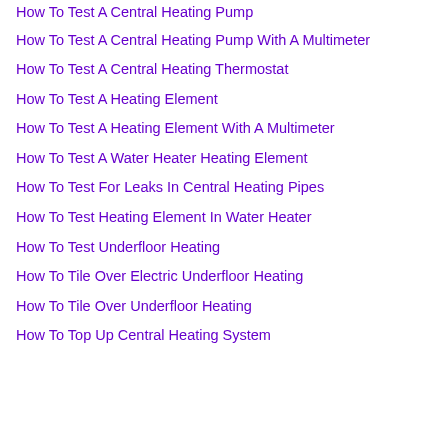How To Test A Central Heating Pump
How To Test A Central Heating Pump With A Multimeter
How To Test A Central Heating Thermostat
How To Test A Heating Element
How To Test A Heating Element With A Multimeter
How To Test A Water Heater Heating Element
How To Test For Leaks In Central Heating Pipes
How To Test Heating Element In Water Heater
How To Test Underfloor Heating
How To Tile Over Electric Underfloor Heating
How To Tile Over Underfloor Heating
How To Top Up Central Heating System